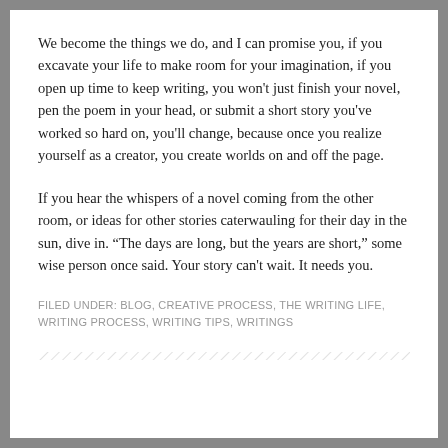We become the things we do, and I can promise you, if you excavate your life to make room for your imagination, if you open up time to keep writing, you won't just finish your novel, pen the poem in your head, or submit a short story you've worked so hard on, you'll change, because once you realize yourself as a creator, you create worlds on and off the page.
If you hear the whispers of a novel coming from the other room, or ideas for other stories caterwauling for their day in the sun, dive in. “The days are long, but the years are short,” some wise person once said. Your story can't wait. It needs you.
FILED UNDER: BLOG, CREATIVE PROCESS, THE WRITING LIFE, WRITING PROCESS, WRITING TIPS, WRITINGS